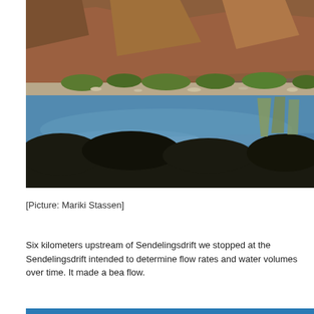[Figure (photo): Landscape photograph of a river with calm blue water reflecting desert mountains with brown rocky terrain and sparse vegetation along the banks. Dark silhouettes of shrubs in the foreground.]
[Picture:  Mariki Stassen]
Six kilometers upstream of Sendelingsdrift we stopped at the Sendelingsdrift intended to determine flow rates and water volumes over time. It made a bea flow.